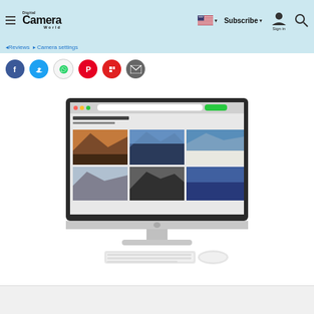Digital Camera World - Navigation header with logo, flag selector, Subscribe, Sign in, and search
Breadcrumb navigation links
[Figure (screenshot): Social share buttons row: Facebook (blue circle), Twitter (light blue circle), WhatsApp (grey circle), Pinterest (red circle), Flipboard (red circle), Email (dark grey circle)]
[Figure (photo): Apple iMac desktop computer on white background, displaying a photo-sharing website with landscape photography grid showing mountains and scenic views. White keyboard and Magic Mouse visible in front.]